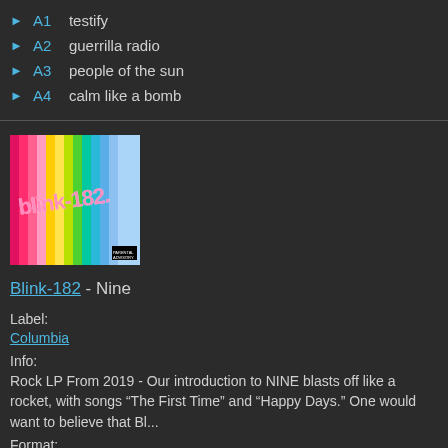▶ A1  testify
▶ A2  guerrilla radio
▶ A3  people of the sun
▶ A4  calm like a bomb
[Figure (photo): Album cover for Blink-182 Nine - colorful vertical rainbow stripes with stylized graffiti text blink-182 in pink/white]
Blink-182 - Nine
Label:
Columbia
Info:
Rock LP From 2019 - Our introduction to NINE blasts off like a rocket, with songs “The First Time” and “Happy Days.” One would want to believe that Bl...
Format: